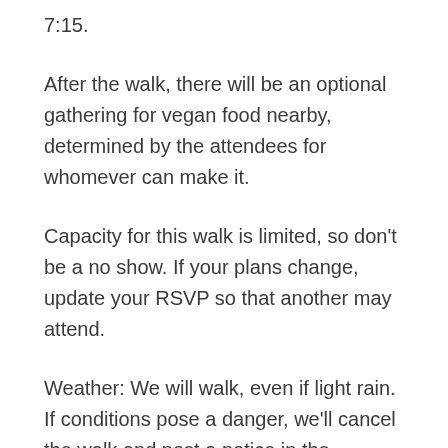7:15.
After the walk, there will be an optional gathering for vegan food nearby, determined by the attendees for whomever can make it.
Capacity for this walk is limited, so don't be a no show. If your plans change, update your RSVP so that another may attend.
Weather: We will walk, even if light rain. If conditions pose a danger, we'll cancel the walk and post a notice in the comments section on this page. We suggest you wear comfortable footwear and clothing.